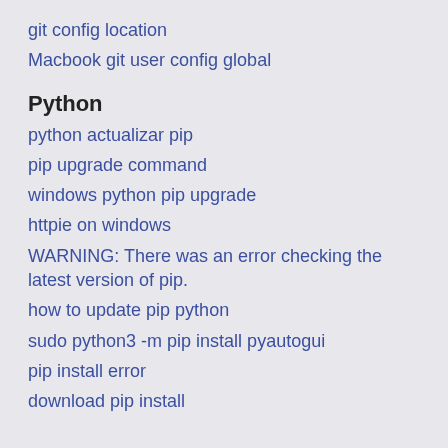git config location
Macbook git user config global
Python
python actualizar pip
pip upgrade command
windows python pip upgrade
httpie on windows
WARNING: There was an error checking the latest version of pip.
how to update pip python
sudo python3 -m pip install pyautogui
pip install error
download pip install